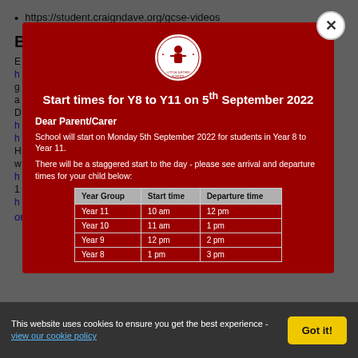https://student.craigndave.org/gcse-videos
Business studies links
[Figure (screenshot): School modal popup with logo for Little Ilford School, title 'Start times for Y8 to Y11 on 5th September 2022', body text about staggered start times, and a table of year group start/departure times. Close button (X) in top right corner.]
| Year Group | Start time | Departure time |
| --- | --- | --- |
| Year 11 | 10 am | 12 pm |
| Year 10 | 11 am | 1 pm |
| Year 9 | 12 pm | 2 pm |
| Year 8 | 1 pm | 3 pm |
organisational-charts.html
This website uses cookies to ensure you get the best experience - view our cookie policy